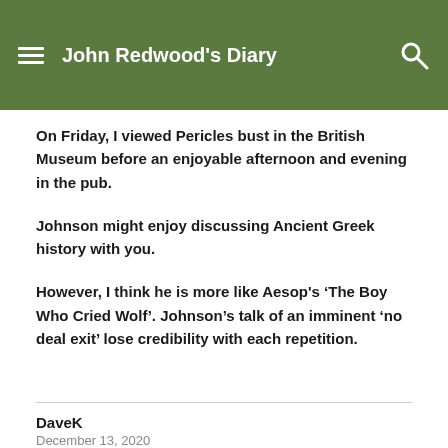John Redwood's Diary
On Friday, I viewed Pericles bust in the British Museum before an enjoyable afternoon and evening in the pub.
Johnson might enjoy discussing Ancient Greek history with you.
However, I think he is more like Aesop's ‘The Boy Who Cried Wolf’. Johnson’s talk of an imminent ‘no deal exit’ lose credibility with each repetition.
DaveK
December 13, 2020
I think he was referring to the “Boy Tinker” from...